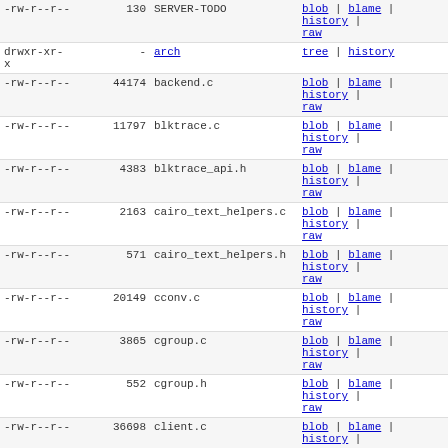| permissions | size | name | actions |
| --- | --- | --- | --- |
| -rw-r--r-- | 130 | SERVER-TODO | blob | blame | history | raw |
| drwxr-xr-x | - | arch | tree | history |
| -rw-r--r-- | 44174 | backend.c | blob | blame | history | raw |
| -rw-r--r-- | 11797 | blktrace.c | blob | blame | history | raw |
| -rw-r--r-- | 4383 | blktrace_api.h | blob | blame | history | raw |
| -rw-r--r-- | 2163 | cairo_text_helpers.c | blob | blame | history | raw |
| -rw-r--r-- | 571 | cairo_text_helpers.h | blob | blame | history | raw |
| -rw-r--r-- | 20149 | cconv.c | blob | blame | history | raw |
| -rw-r--r-- | 3865 | cgroup.c | blob | blame | history | raw |
| -rw-r--r-- | 552 | cgroup.h | blob | blame | history | raw |
| -rw-r--r-- | 36698 | client.c | blob | blame | history | raw |
| -rw-r--r-- | 3471 | client.h | blob | blame | history | raw |
| drwxr-xr-x | - | compiler | tree | history |
| -rwxr-xr-x | 30884 | configure | blob | blame | history | raw |